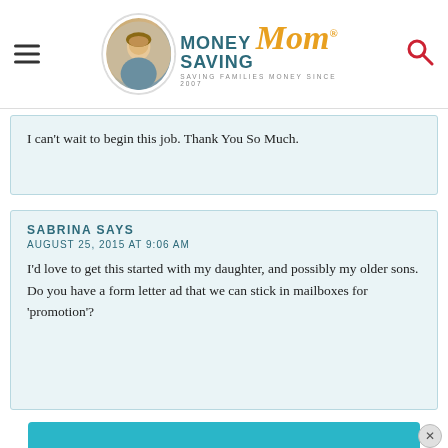Money Saving Mom® — SAVING FAMILIES MONEY SINCE 2007
I can't wait to begin this job. Thank You So Much.
SABRINA SAYS
AUGUST 25, 2015 AT 9:06 AM

I'd love to get this started with my daughter, and possibly my older sons. Do you have a form letter ad that we can stick in mailboxes for 'promotion'?
[Figure (infographic): GET THE HOTTEST DEALS banner ad with teal background and text 'IN YOUR INSTAGRAM FEED EACH DAY!']